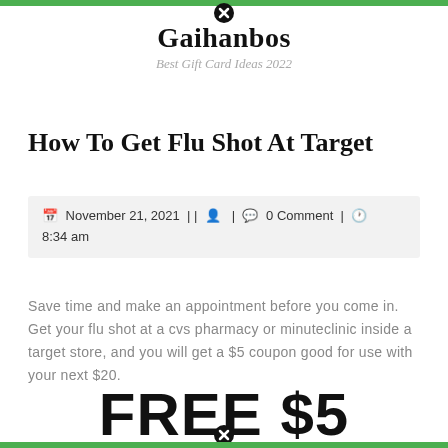Gaihanbos — Best Gift Card Ideas 2022
How To Get Flu Shot At Target
November 21, 2021 | | | 0 Comment | 8:34 am
Save time and make an appointment before you come in. Get your flu shot at a cvs pharmacy or minuteclinic inside a target store, and you will get a $5 coupon good for use with your next $20.
FREE $5